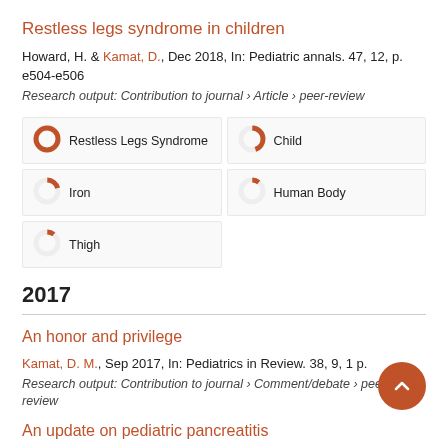Restless legs syndrome in children
Howard, H. & Kamat, D., Dec 2018, In: Pediatric annals. 47, 12, p. e504-e506
Research output: Contribution to journal › Article › peer-review
[Figure (infographic): Keyword badges with donut-style percentage indicators: Restless Legs Syndrome (100%), Child (~45%), Iron (~20%), Human Body (~10%), Thigh (~10%)]
2017
An honor and privilege
Kamat, D. M., Sep 2017, In: Pediatrics in Review. 38, 9, 1 p.
Research output: Contribution to journal › Comment/debate › peer-review
An update on pediatric pancreatitis